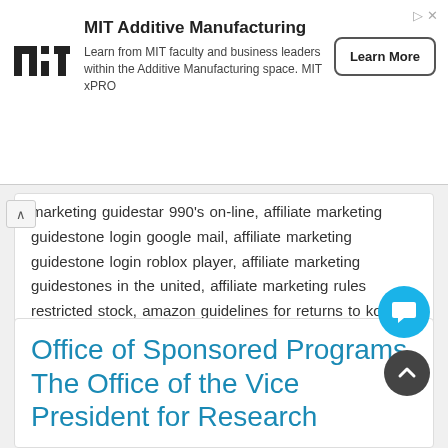[Figure (other): MIT Additive Manufacturing advertisement banner with MIT logo, text about learning from MIT faculty and business leaders within the Additive Manufacturing space (MIT xPRO), and a Learn More button]
marketing guidestar 990's on-line, affiliate marketing guidestone login google mail, affiliate marketing guidestone login roblox player, affiliate marketing guidestones in the united, affiliate marketing rules restricted stock, amazon guidelines for returns to kohl's store apparel, googlesuggestrelevance, pinterest affiliate marketing guidelines cms medicare fee, twitch chat rules template
Office of Sponsored Programs The Office of the Vice President for Research